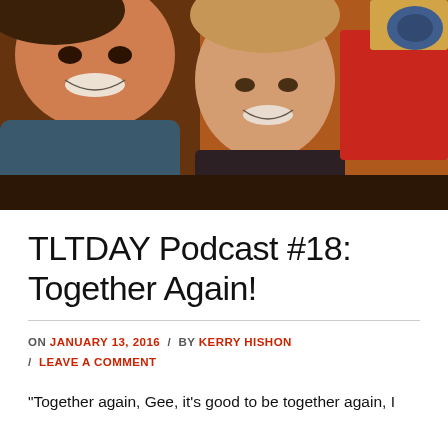[Figure (photo): Two women smiling closely together for a selfie; background shows colorful bags and items on a table with warm orange/red tones.]
TLTDAY Podcast #18: Together Again!
ON JANUARY 13, 2016 / BY KERRY HISHON / LEAVE A COMMENT
"Together again, Gee, it's good to be together again, I